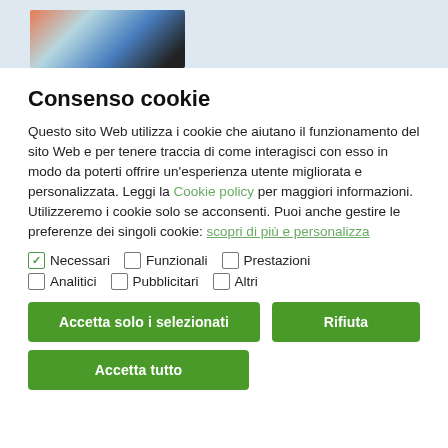[Figure (photo): Partial header image showing colorful crafts/textiles and a person, on a light blue background bar]
Consenso cookie
Questo sito Web utilizza i cookie che aiutano il funzionamento del sito Web e per tenere traccia di come interagisci con esso in modo da poterti offrire un'esperienza utente migliorata e personalizzata. Leggi la Cookie policy per maggiori informazioni. Utilizzeremo i cookie solo se acconsenti. Puoi anche gestire le preferenze dei singoli cookie: scopri di più e personalizza
✓ Necessari   □ Funzionali   □ Prestazioni
□ Analitici   □ Pubblicitari   □ Altri
Accetta solo i selezionati | Rifiuta | Accetta tutto